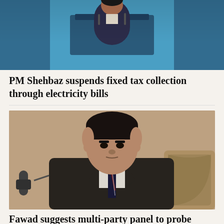[Figure (photo): Photo of PM Shehbaz at podium/lectern, speaking at an event, blue background]
PM Shehbaz suspends fixed tax collection through electricity bills
[Figure (photo): Portrait photo of Fawad Chaudhry in a dark suit and tie, seated, with a microphone visible]
Fawad suggests multi-party panel to probe Shahbaz Gill torture claim
[Figure (photo): Partial photo at bottom, cropped, showing a figure outdoors with green background]